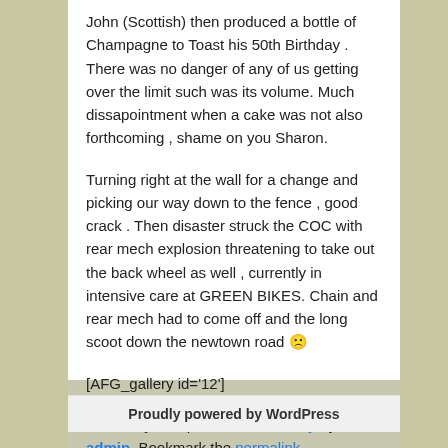John (Scottish) then produced a bottle of Champagne to Toast his 50th Birthday . There was no danger of any of us getting over the limit such was its volume. Much dissapointment when a cake was not also forthcoming , shame on you Sharon.
Turning right at the wall for a change and picking our way down to the fence , good crack . Then disaster struck the COC with rear mech explosion threatening to take out the back wheel as well , currently in intensive care at GREEN BIKES. Chain and rear mech had to come off and the long scoot down the newtown road 🙁
[AFG_gallery id='12']
This entry was posted in Saturday by admin. Bookmark the permalink.
Proudly powered by WordPress